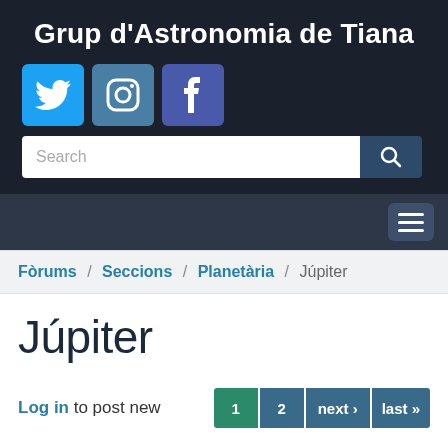Grup d'Astronomia de Tiana
[Figure (screenshot): Social media icons: Twitter (blue bird), Instagram (camera), Facebook (f logo)]
[Figure (screenshot): Search bar with placeholder text 'Search' and a search icon button]
[Figure (screenshot): Navigation bar with hamburger menu icon on the right]
Fòrums / Seccions / Planetària / Júpiter
Júpiter
Log in to post new
1   2   next ›   last »